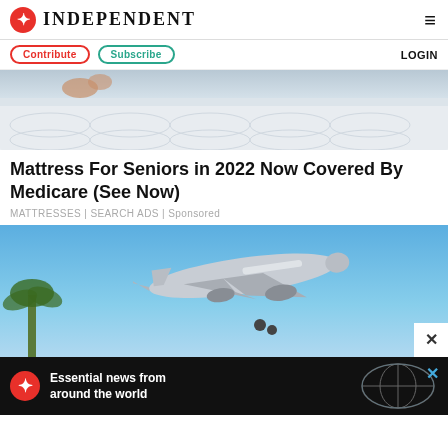INDEPENDENT
Contribute | Subscribe | LOGIN
[Figure (photo): Close-up of a white mattress with quilted surface]
Mattress For Seniors in 2022 Now Covered By Medicare (See Now)
MATTRESSES | SEARCH ADS | Sponsored
[Figure (photo): Airplane taking off against a blue sky with a palm tree visible in the lower left corner]
[Figure (infographic): Bottom advertisement banner: Independent logo with text 'Essential news from around the world' with globe graphic]